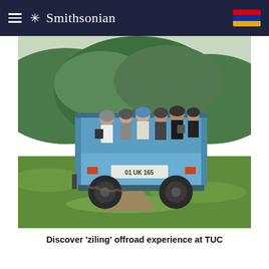Smithsonian
[Figure (photo): Rear view of a blue Soviet-era truck with license plate reading '01 UK 165', carrying a group of people wearing helmets and casual clothing, on a dirt track through green grassy fields with forested hills in the background.]
Discover 'ziling' offroad experience at TUC